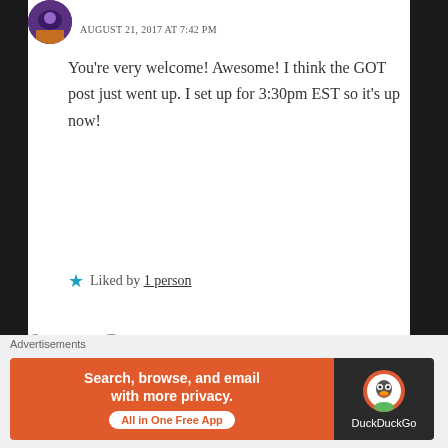AUGUST 21, 2017 AT 7:42 PM
You're very welcome! Awesome! I think the GOT post just went up. I set up for 3:30pm EST so it's up now!
★ Liked by 1 person
Leave a Reply
Your email address will not be published. Required fields are marked *
[Figure (screenshot): DuckDuckGo advertisement banner: 'Search, browse, and email with more privacy. All in One Free App' with DuckDuckGo logo on dark background]